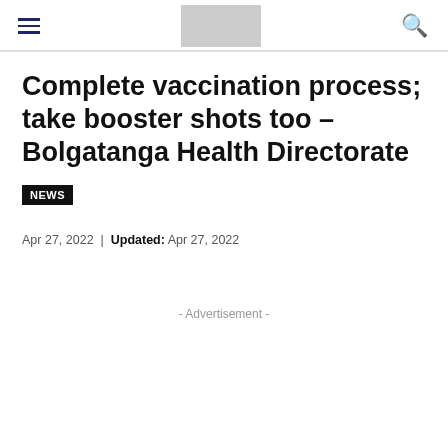Navigation header with hamburger menu, logo placeholder, and search icon
Complete vaccination process; take booster shots too – Bolgatanga Health Directorate
NEWS
Apr 27, 2022  |  Updated: Apr 27, 2022
- Advertisement -